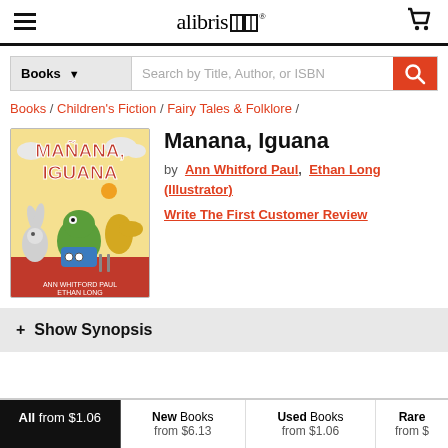alibris [logo]
Books — Search by Title, Author, or ISBN
Books / Children's Fiction / Fairy Tales & Folklore /
[Figure (illustration): Book cover of Manana, Iguana by Ann Whitford Paul and Ethan Long, showing cartoon iguana and animal characters]
Manana, Iguana
by Ann Whitford Paul, Ethan Long (Illustrator)
Write The First Customer Review
+ Show Synopsis
All from $1.06 | New Books from $6.13 | Used Books from $1.06 | Rare from $